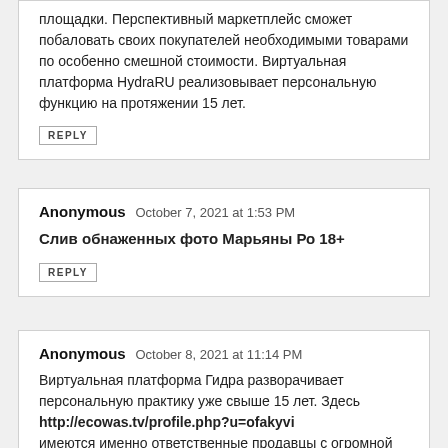площадки. Перспективный маркетплейс сможет побаловать своих покупателей необходимыми товарами по особенно смешной стоимости. Виртуальная платформа HydraRU реализовывает персональную функцию на протяжении 15 лет.
REPLY
Anonymous  October 7, 2021 at 1:53 PM
Слив обнаженных фото Марьяны Ро 18+
REPLY
Anonymous  October 8, 2021 at 11:14 PM
Виртуальная платформа Гидра разворачивает персональную практику уже свыше 15 лет. Здесь http://ecowas.tv/profile.php?u=ofakyvi имеются именно ответственные продавцы с огромной оценкой. Операторы Hydra без